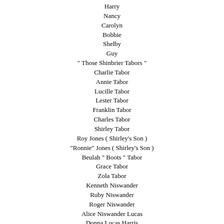Harry
Nancy
Carolyn
Bobbie
Shelby
Guy
" Those Shinbrier Tabors "
Charlie Tabor
Annie Tabor
Lucille Tabor
Lester Tabor
Franklin Tabor
Charles Tabor
Shirley Tabor
Roy Jones ( Shirley's Son )
"Ronnie" Jones ( Shirley's Son )
Beulah " Boots " Tabor
Grace Tabor
Zola Tabor
Kenneth Niswander
Ruby Niswander
Roger Niswander
Alice Niswander Lucas
Donna Lucas Harris
Gilford Corner, Sr. (Husband)
Mildred Ratliff Corner (Wife)
Gilford Corner, Jr. (Husband)
Josephine Hubert Corner (Wife)